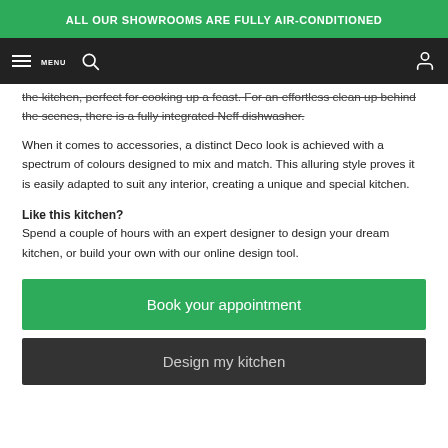ALL OUR SHOWROOMS ARE FULLY AIR-CONDITIONED
the kitchen, perfect for cooking up a feast. For an effortless clean up behind the scenes, there is a fully integrated Neff dishwasher.
When it comes to accessories, a distinct Deco look is achieved with a spectrum of colours designed to mix and match. This alluring style proves it is easily adapted to suit any interior, creating a unique and special kitchen.
Like this kitchen?
Spend a couple of hours with an expert designer to design your dream kitchen, or build your own with our online design tool.
Book your appointment
Design my kitchen